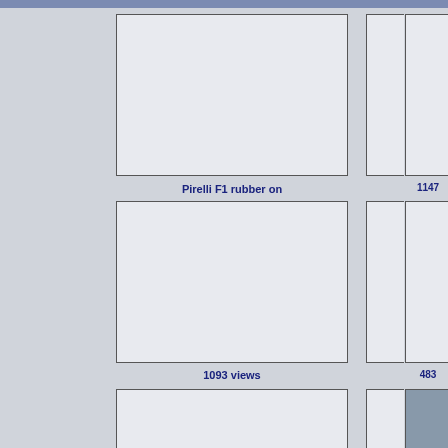[Figure (screenshot): Photo gallery grid showing thumbnails of aviation and automotive images with view counts and dates]
Pirelli F1 rubber on the old Toyota
1896 views
Aug 29, 2022 at 09:40 AM
889 views
Aug 29, 2022 at 09:04 AM
439 views
Aug 29, 2022 at 08:31 AM
1147
Aug 28, 20
1093 views
Aug 28, 2022 at 05:52 AM
1225 views
Aug 28, 2022 at 05:52 AM
1151 views
Aug 28, 2022 at 05:52 AM
483
Aug 27, 20
ZJ700 Eurofighter Typhoon F.2 landing with chute
655 views
Aug 27, 2022 at 09:19 PM
480 views
Aug 27, 2022 at 09:19 PM
Harrier GR.9 crew
918 views
Aug 27, 2022 at 09:19 PM
5815
Aug 27, 20